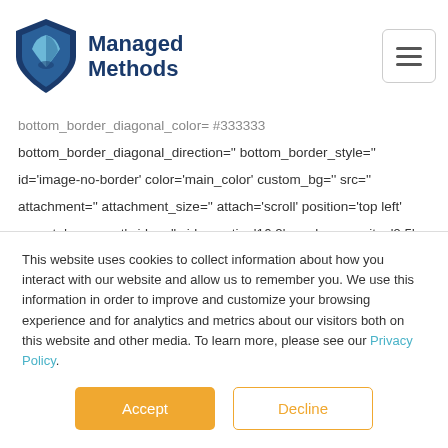[Figure (logo): Managed Methods logo with shield icon in blue tones and bold dark blue text]
bottom_border_diagonal_color= #333333
bottom_border_diagonal_direction='' bottom_border_style=''
id='image-no-border' color='main_color' custom_bg='' src=''
attachment='' attachment_size='' attach='scroll' position='top left'
repeat='no-repeat' video='' video_ratio='16:9' overlay_opacity='0.5'
overlay_color='' overlay_pattern='' overlay_custom_pattern=''
This website uses cookies to collect information about how you interact with our website and allow us to remember you. We use this information in order to improve and customize your browsing experience and for analytics and metrics about our visitors both on this website and other media. To learn more, please see our Privacy Policy.
Accept
Decline